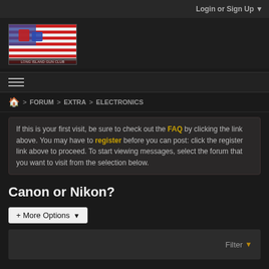Login or Sign Up ▼
[Figure (logo): Long Island Gun Club logo with American flag background and stylized letters]
[Figure (other): Hamburger menu icon (three horizontal lines)]
🏠 > FORUM > EXTRA > ELECTRONICS
If this is your first visit, be sure to check out the FAQ by clicking the link above. You may have to register before you can post: click the register link above to proceed. To start viewing messages, select the forum that you want to visit from the selection below.
Canon or Nikon?
+ More Options ▾
Filter ▼